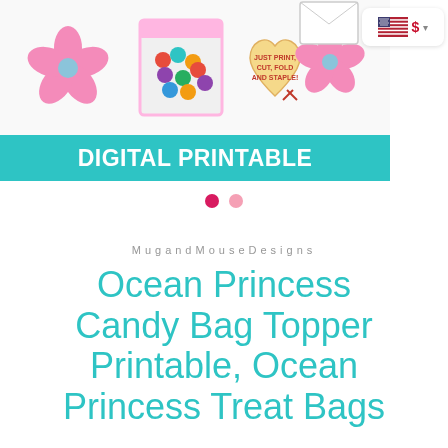[Figure (photo): Product listing image showing Ocean Princess candy bag toppers with tropical hibiscus flowers, a bag of colorful candy, a heart-shaped tag reading 'JUST PRINT, CUT, FOLD AND STAPLE!', and a 'DIGITAL PRINTABLE' teal banner]
MugandMouseDesigns
Ocean Princess Candy Bag Topper Printable, Ocean Princess Treat Bags